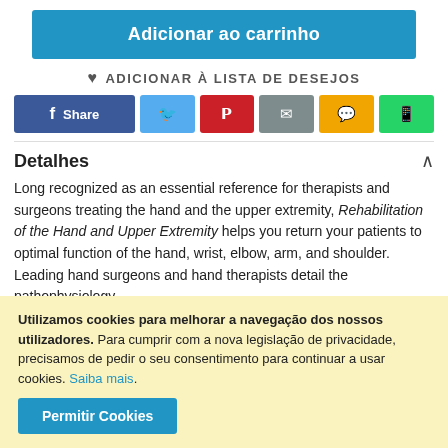Adicionar ao carrinho
ADICIONAR À LISTA DE DESEJOS
[Figure (other): Social sharing buttons: Facebook Share, Twitter, Pinterest, Email, SMS, WhatsApp]
Detalhes
Long recognized as an essential reference for therapists and surgeons treating the hand and the upper extremity, Rehabilitation of the Hand and Upper Extremity helps you return your patients to optimal function of the hand, wrist, elbow, arm, and shoulder. Leading hand surgeons and hand therapists detail the pathophysiology
Utilizamos cookies para melhorar a navegação dos nossos utilizadores. Para cumprir com a nova legislação de privacidade, precisamos de pedir o seu consentimento para continuar a usar cookies. Saiba mais.
Permitir Cookies